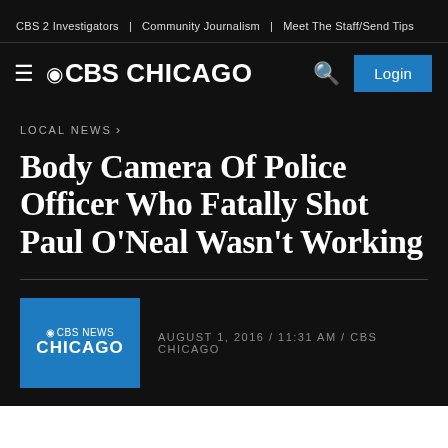CBS 2 Investigators | Community Journalism | Meet The Staff/Send Tips
[Figure (logo): CBS Chicago logo with hamburger menu, CBS eye icon, search icon, and Login button]
LOCAL NEWS ›
Body Camera Of Police Officer Who Fatally Shot Paul O'Neal Wasn't Working
AUGUST 1, 2016 / 11:31 AM / CBS CHICAGO
[Figure (logo): CBS News Chicago blue logo box]